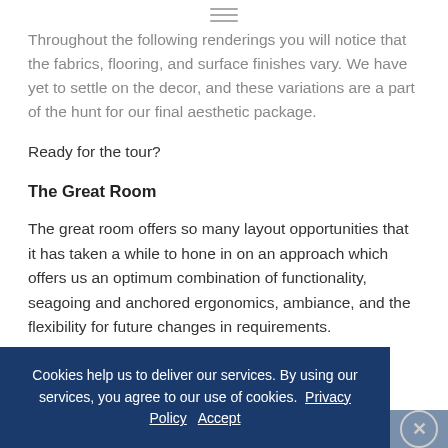≡
Throughout the following renderings you will notice that the fabrics, flooring, and surface finishes vary. We have yet to settle on the decor, and these variations are a part of the hunt for our final aesthetic package.
Ready for the tour?
The Great Room
The great room offers so many layout opportunities that it has taken a while to hone in on an approach which offers us an optimum combination of functionality, seagoing and anchored ergonomics, ambiance, and the flexibility for future changes in requirements.
Cookies help us to deliver our services. By using our services, you agree to our use of cookies. Privacy Policy   Accept